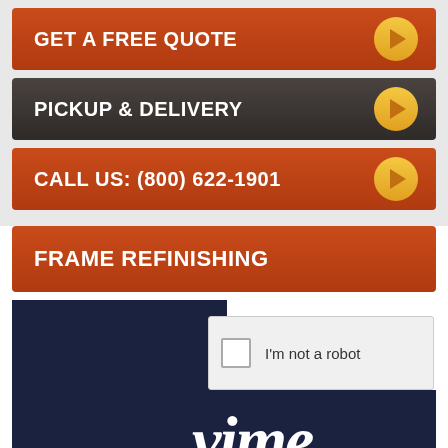GET A FREE QUOTE
PICKUP & DELIVERY
CALL US: (800) 622-1901
FRAME REFINISHING
[Figure (screenshot): CAPTCHA widget showing checkbox and 'I'm not a robot' text, overlaid on a Vimeo logo with dark navy background]